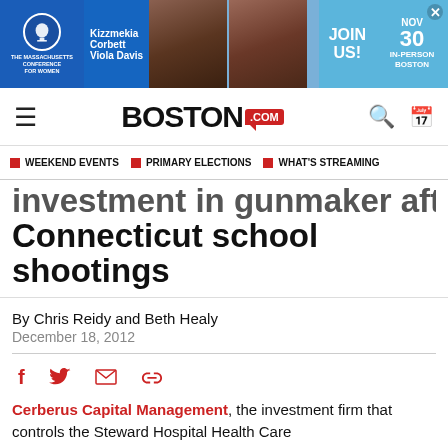[Figure (screenshot): Advertisement banner for Massachusetts Conference for Women featuring Kizzmekia Corbett and Viola Davis, with 'JOIN US! NOV 30 IN-PERSON BOSTON' text on blue background]
BOSTON.com
WEEKEND EVENTS
PRIMARY ELECTIONS
WHAT'S STREAMING
investment in gunmaker after Connecticut school shootings
By Chris Reidy and Beth Healy
December 18, 2012
Cerberus Capital Management, the investment firm that controls the Steward Hospital Health Care